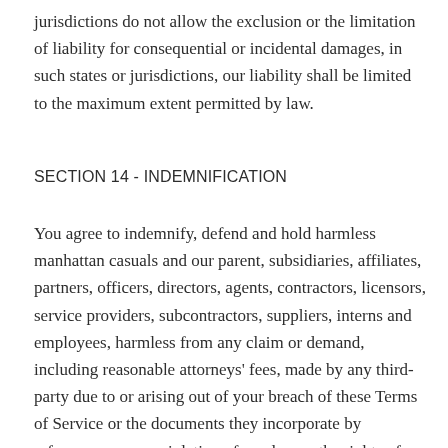jurisdictions do not allow the exclusion or the limitation of liability for consequential or incidental damages, in such states or jurisdictions, our liability shall be limited to the maximum extent permitted by law.
SECTION 14 - INDEMNIFICATION
You agree to indemnify, defend and hold harmless manhattan casuals and our parent, subsidiaries, affiliates, partners, officers, directors, agents, contractors, licensors, service providers, subcontractors, suppliers, interns and employees, harmless from any claim or demand, including reasonable attorneys' fees, made by any third-party due to or arising out of your breach of these Terms of Service or the documents they incorporate by reference, or your violation of any law or the rights of a third-party.